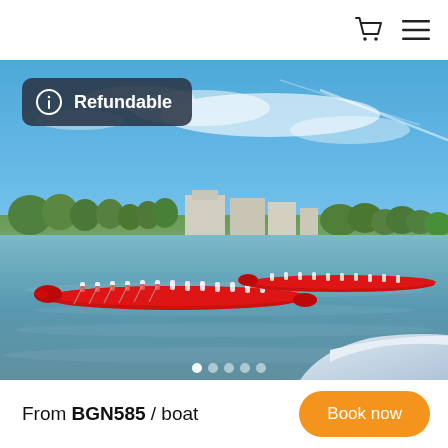Shopping cart and menu icons
[Figure (photo): Dragon boat race on a river, two red dragon boats with rowers in red and white outfits paddling toward the camera, blue sky with clouds, green shore with buildings in the background, white motorboat visible at bottom right. A dark badge overlay reads 'Refundable' with an info icon.]
From BGN585 / boat
Book now